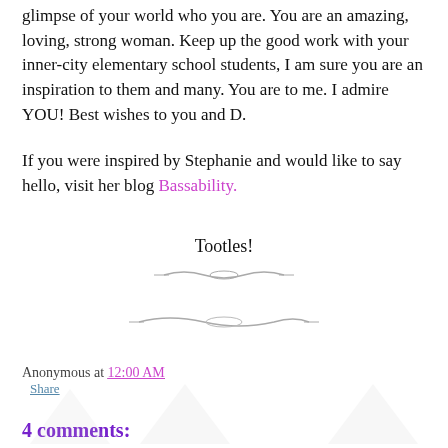glimpse of your world who you are.  You are an amazing, loving, strong woman.  Keep up the good work with your inner-city elementary school students, I am sure you are an inspiration to them and many.  You are to me.  I admire YOU!  Best wishes to you and D.
If you were inspired by Stephanie and would like to say hello, visit her blog Bassability.
Tootles!
[Figure (illustration): Decorative divider line/flourish]
[Figure (illustration): Decorative divider line/flourish]
Anonymous at 12:00 AM
Share
4 comments: